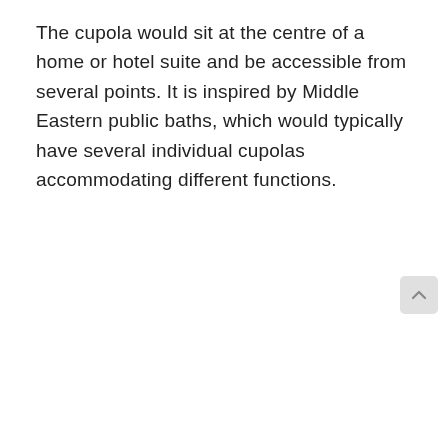The cupola would sit at the centre of a home or hotel suite and be accessible from several points. It is inspired by Middle Eastern public baths, which would typically have several individual cupolas accommodating different functions.